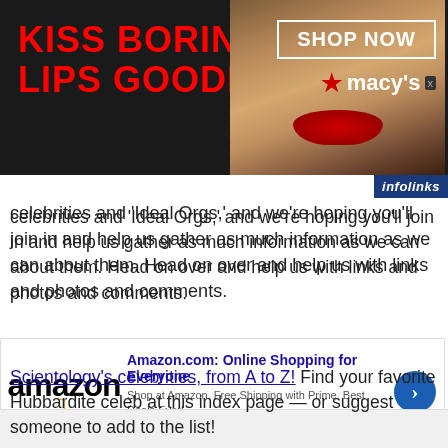[Figure (advertisement): Macy's advertisement banner with red text 'KISS BORING LIPS GOODBYE', a woman's face with red lips, 'SHOP NOW' button, and Macy's star logo on dark background]
celebrities and 'Ideal Orgs,' and we're hoping you'll join in and help us gather as much information as we can about them. Head on over and help us with links and photos and comments.
Scientology's celebrities, from A to Z! Find your favorite Hubbardite celeb at this index page — or suggest someone to add to the list!
Scientology's 'Ideal Orgs,' from one end of the planet to the other! Help us build up pages about
[Figure (advertisement): Amazon.com advertisement: 'Amazon.com: Online Shopping for Everyone', Shop at Amazon. Free Shipping with Prime. Best Deals Ever! amazon.com, with Amazon logo and blue arrow button]